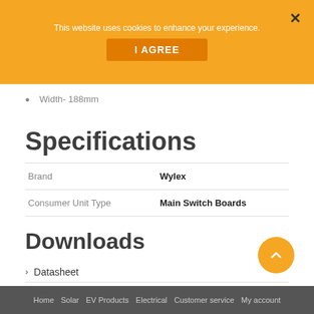This website uses cookies to enhance your experience.
I AGREE
Width- 188mm
Specifications
|  |  |
| --- | --- |
| Brand | Wylex |
| Consumer Unit Type | Main Switch Boards |
Downloads
› Datasheet
Home  Solar  EV Products  Electrical  Customer service  My account